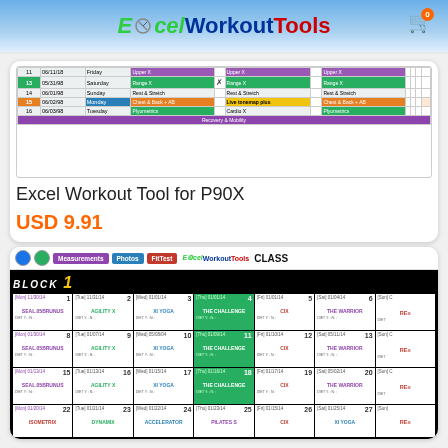ExcelWorkoutTools
[Figure (screenshot): Screenshot of Excel workout tracker spreadsheet for P90X with colored rows showing workout days]
Excel Workout Tool for P90X
USD 9.91
[Figure (screenshot): Screenshot of Excel-based CLASS workout calendar tool showing Block 1 with weekly workout schedule including Agility X, Xi Yoga, The Challenge, CIX, The Warrior, Isometrix, Dynamix, Accelerator, Pilates S, Xi Yoga entries]